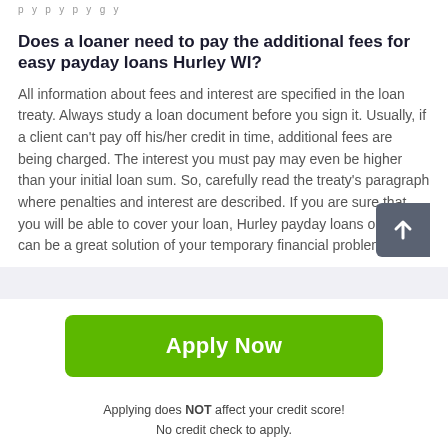p y p y p y g y
Does a loaner need to pay the additional fees for easy payday loans Hurley WI?
All information about fees and interest are specified in the loan treaty. Always study a loan document before you sign it. Usually, if a client can't pay off his/her credit in time, additional fees are being charged. The interest you must pay may even be higher than your initial loan sum. So, carefully read the treaty's paragraph where penalties and interest are described. If you are sure that you will be able to cover your loan, Hurley payday loans online can be a great solution of your temporary financial problems.
Apply Now
Applying does NOT affect your credit score!
No credit check to apply.